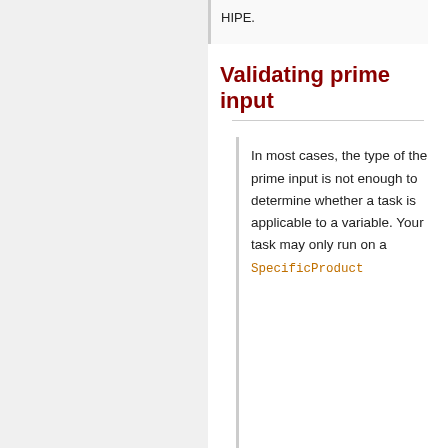HIPE.
Validating prime input
In most cases, the type of the prime input is not enough to determine whether a task is applicable to a variable. Your task may only run on a SpecificProduct